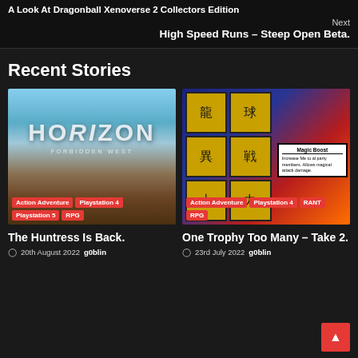A Look At Dragonball Xenoverse 2 Collectors Edition
Next
High Speed Runs – Steep Open Beta.
Recent Stories
[Figure (photo): Horizon Forbidden West game cover thumbnail with tags: Action Adventure, Playstation 4, Playstation 5, RPG]
The Huntress Is Back.
20th August 2022  g0blin
[Figure (photo): One Trophy Too Many Take 2 game thumbnail with tags: Action Adventure, Playstation 4, RANT, RPG]
One Trophy Too Many – Take 2.
23rd July 2022  g0blin